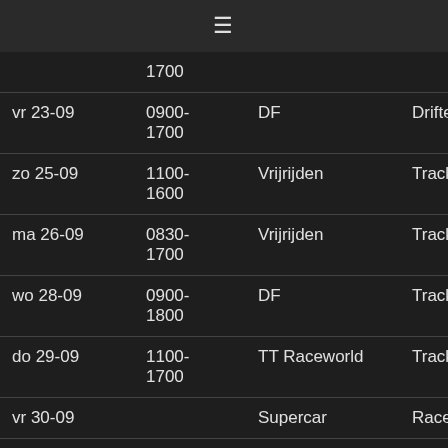≡
| Date | Time | Event | Type | Extra |
| --- | --- | --- | --- | --- |
|  | 1700 |  |  | (D) |
| vr 23-09 | 0900-1700 | DF | Driften | We |
| zo 25-09 | 1100-1600 | Vrijrijden | Trackday | As |
| ma 26-09 | 0830-1700 | Vrijrijden | Trackday | Za |
| wo 28-09 | 0900-1800 | DF | Trackday | Zo |
| do 29-09 | 1100-1700 | TT Raceworld | Trackday | As |
| vr 30-09 |  | Supercar | Race | Za |